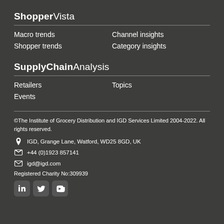ShopperVista
Macro trends
Channel insights
Shopper trends
Category insights
SupplyChainAnalysis
Retailers
Topics
Events
©The Institute of Grocery Distribution and IGD Services Limited 2004-2022. All rights reserved.
IGD, Grange Lane, Watford, WD25 8GD, UK
+44 (0)1923 857141
igd@igd.com
Registered Charity No:309939